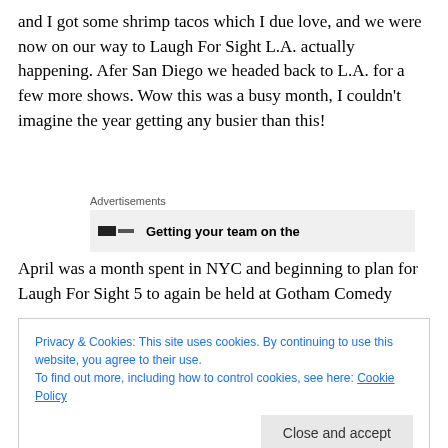and I got some shrimp tacos which I due love, and we were now on our way to Laugh For Sight L.A. actually happening. Afer San Diego we headed back to L.A. for a few more shows. Wow this was a busy month, I couldn't imagine the year getting any busier than this!
[Figure (other): Advertisement block with label 'Advertisements' and an ad showing 'Getting your team on the']
April was a month spent in NYC and beginning to plan for Laugh For Sight 5 to again be held at Gotham Comedy
Privacy & Cookies: This site uses cookies. By continuing to use this website, you agree to their use.
To find out more, including how to control cookies, see here: Cookie Policy
Close and accept
summer